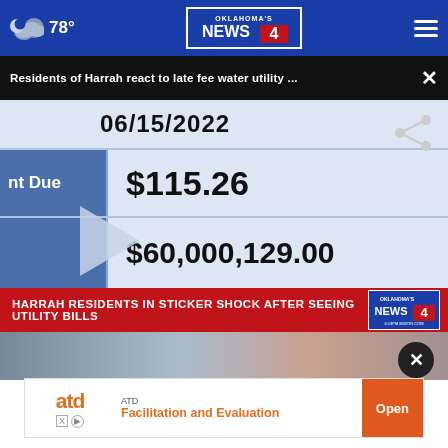78° — Oklahoma's News 4 — mobile header
Residents of Harrah react to late fee water utility ...
[Figure (screenshot): Close-up of a water utility bill showing date 06/15/2022, Amount Due $115.26, and a balance of $60,000,129.00]
HARRAH RESIDENTS IN STICKER SHOCK AFTER SEEING UTILITY BILLS
[Figure (photo): Photo of a person outdoors, partially visible]
ATD — Facilitation and Evaluation — Open